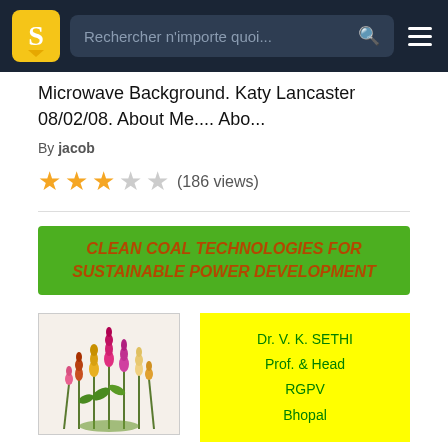Rechercher n'importe quoi...
Microwave Background. Katy Lancaster 08/02/08. About Me.... Abo...
By jacob
(186 views)
CLEAN COAL TECHNOLOGIES FOR SUSTAINABLE POWER DEVELOPMENT
[Figure (photo): Flowers image used as document thumbnail]
Dr. V. K. SETHI
Prof. & Head
RGPV
Bhopal
Dr. V. K. SETHI Prof. & Head RGPV...
CLEAN COAL TECHNOLOGIES FOR